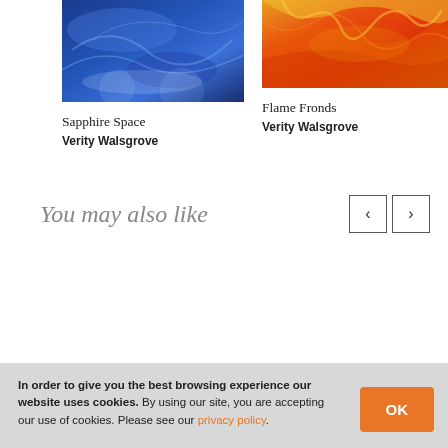[Figure (photo): Blue abstract artwork photo - Sapphire Space]
[Figure (photo): Orange and yellow abstract artwork photo - Flame Fronds]
Sapphire Space
Verity Walsgrove
Flame Fronds
Verity Walsgrove
You may also like
In order to give you the best browsing experience our website uses cookies. By using our site, you are accepting our use of cookies. Please see our privacy policy.